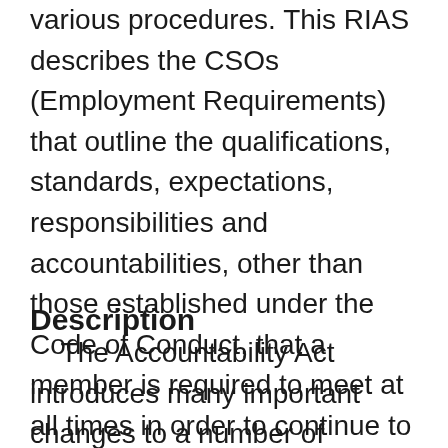various procedures. This RIAS describes the CSOs (Employment Requirements) that outline the qualifications, standards, expectations, responsibilities and accountabilities, other than those established under the Code of Conduct, that a member is required to meet at all times in order to continue to serve as a member.
Description
The Accountability Act introduces many important changes to a number of administrative systems, such as discharge